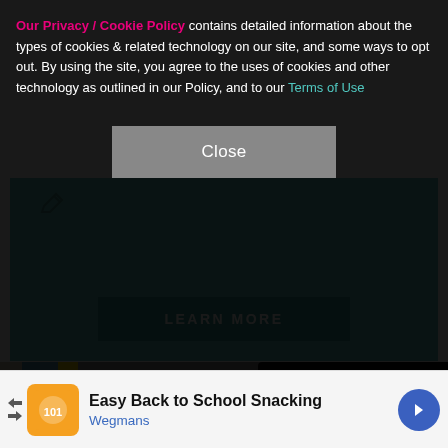Our Privacy / Cookie Policy contains detailed information about the types of cookies & related technology on our site, and some ways to opt out. By using the site, you agree to the uses of cookies and other technology as outlined in our Policy, and to our Terms of Use
Close
[Figure (other): Teal advertisement banner with pencil icon and LEARN MORE button]
[Figure (photo): Outdoor scene with a blonde woman standing near a dark car door. Signs reading EXTRAS HOLDING, EXTRAS HOLDING, SET visible on the left. A person wearing a mask is partially visible on the far left.]
X
Easy Back to School Snacking
Wegmans